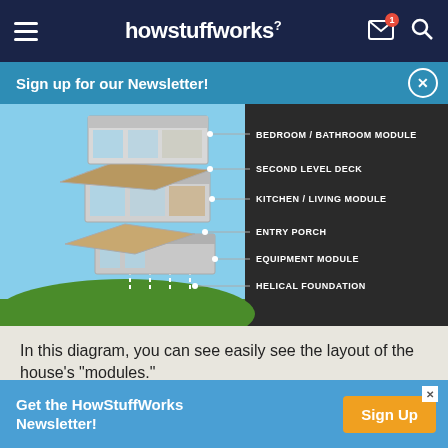howstuffworks
Sign up for our Newsletter!
[Figure (schematic): Exploded architectural diagram of a modular house showing labeled components: BEDROOM / BATHROOM MODULE, SECOND LEVEL DECK, KITCHEN / LIVING MODULE, ENTRY PORCH, EQUIPMENT MODULE, HELICAL FOUNDATION. The house modules are shown separated vertically above a green hillside, with lines pointing to each labeled part on a dark background.]
In this diagram, you can see easily see the layout of the house's "modules."
SPECHT HARPMAN
Get the HowStuffWorks Newsletter!